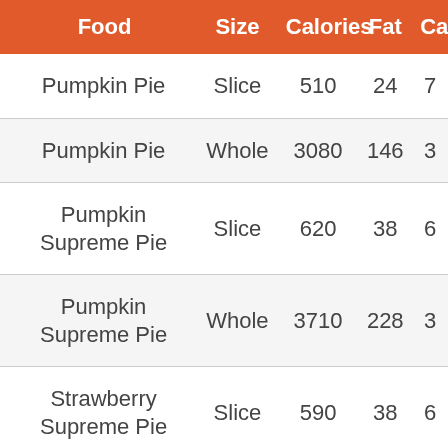| Food | Size | Calories | Fat | Ca |
| --- | --- | --- | --- | --- |
| Pumpkin Pie | Slice | 510 | 24 | 7 |
| Pumpkin Pie | Whole | 3080 | 146 | 3 |
| Pumpkin Supreme Pie | Slice | 620 | 38 | 6 |
| Pumpkin Supreme Pie | Whole | 3710 | 228 | 3 |
| Strawberry Supreme Pie | Slice | 590 | 38 | 6 |
| Strawberry Supreme Pie | Whole | 3740 | 228 |  |